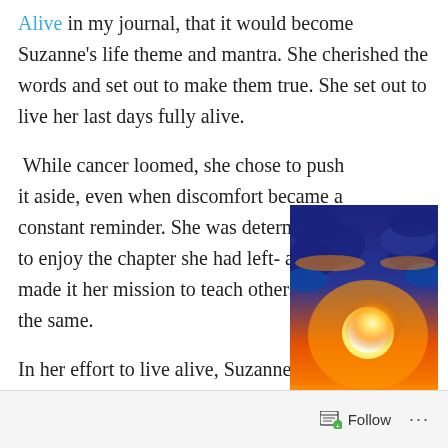Alive in my journal, that it would become Suzanne's life theme and mantra. She cherished the words and set out to make them true. She set out to live her last days fully alive.
While cancer loomed, she chose to push it aside, even when discomfort became a constant reminder. She was determined to enjoy the chapter she had left- and she made it her mission to teach others to do the same.
[Figure (photo): A dramatic sunset over the ocean with golden sun reflecting on blue water and clouds illuminated in orange and gold tones.]
In her effort to live alive, Suzanne approached her days
Follow ...